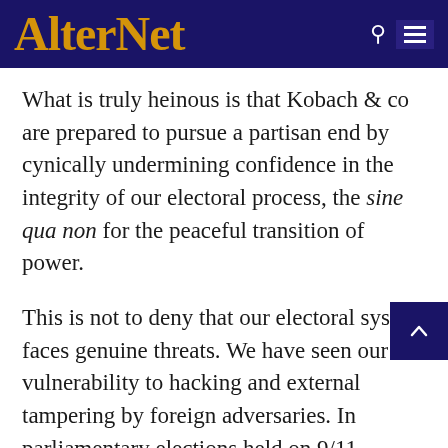AlterNet
What is truly heinous is that Kobach & co are prepared to pursue a partisan end by cynically undermining confidence in the integrity of our electoral process, the sine qua non for the peaceful transition of power.
This is not to deny that our electoral system faces genuine threats. We have seen our vulnerability to hacking and external tampering by foreign adversaries. In parliamentary elections held on 9/11, Norway wisely tightened its security procedures to prevent